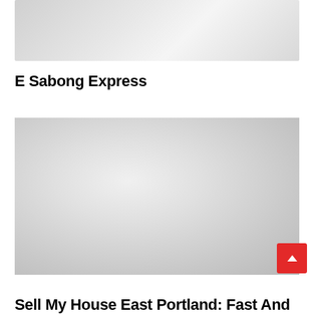[Figure (photo): Placeholder image with light gray gradient background, top article thumbnail]
E Sabong Express
[Figure (photo): Placeholder image with light gray gradient background, second article thumbnail]
Sell My House East Portland: Fast And